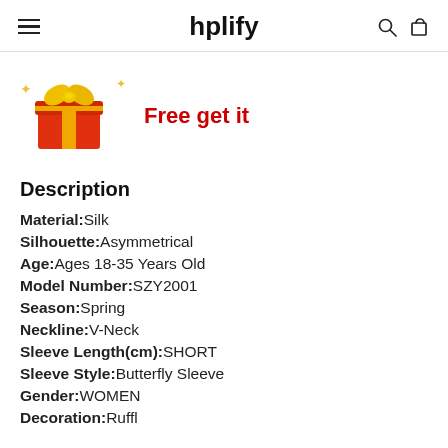hplify
[Figure (illustration): Red gift box with yellow ribbon and bow, with sparkle decorations around it]
Free get it
Description
Material: Silk
Silhouette: Asymmetrical
Age: Ages 18-35 Years Old
Model Number: SZY2001
Season: Spring
Neckline: V-Neck
Sleeve Length(cm): SHORT
Sleeve Style: Butterfly Sleeve
Gender: WOMEN
Decoration: Ruffle